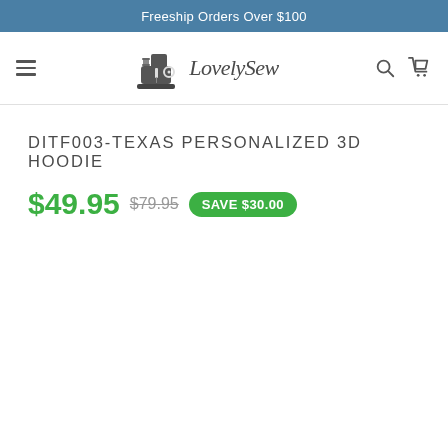Freeship Orders Over $100
[Figure (logo): LovelySew logo with sewing machine icon and italic script text 'LovelySew']
DITF003-TEXAS PERSONALIZED 3D HOODIE
$49.95  $79.95  SAVE $30.00